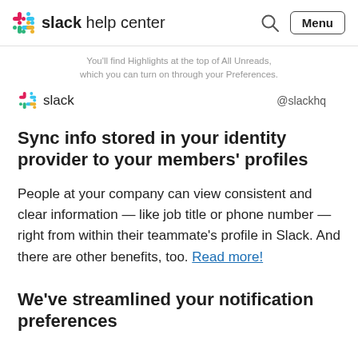slack help center  Menu
You'll find Highlights at the top of All Unreads, which you can turn on through your Preferences.
slack @slackhq
Sync info stored in your identity provider to your members' profiles
People at your company can view consistent and clear information — like job title or phone number — right from within their teammate's profile in Slack. And there are other benefits, too. Read more!
We've streamlined your notification preferences